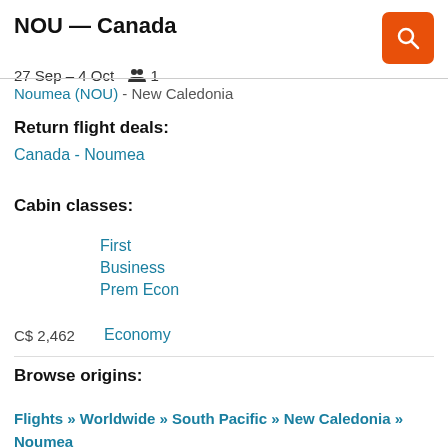NOU — Canada
27 Sep – 4 Oct  👥 1
Noumea (NOU) - New Caledonia
Return flight deals:
Canada - Noumea
Cabin classes:
First
Business
Prem Econ
C$ 2,462  Economy
Browse origins:
Flights » Worldwide » South Pacific » New Caledonia » Noumea